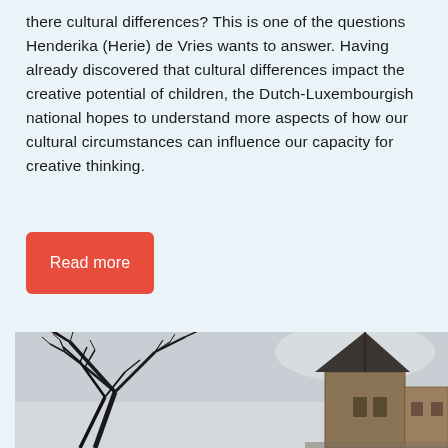there cultural differences? This is one of the questions Henderika (Herie) de Vries wants to answer. Having already discovered that cultural differences impact the creative potential of children, the Dutch-Luxembourgish national hopes to understand more aspects of how our cultural circumstances can influence our capacity for creative thinking.
Read more
[Figure (photo): Black and white photograph showing bare winter tree branches on the left and a historic stone castle or building tower on the right against an overcast grey sky.]